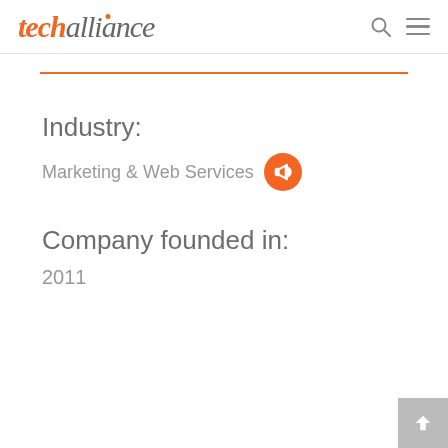techalliance
Industry:
Marketing & Web Services
Company founded in:
2011